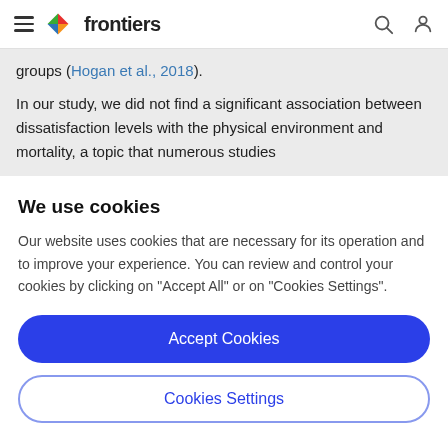frontiers
groups (Hogan et al., 2018).
In our study, we did not find a significant association between dissatisfaction levels with the physical environment and mortality, a topic that numerous studies
We use cookies
Our website uses cookies that are necessary for its operation and to improve your experience. You can review and control your cookies by clicking on "Accept All" or on "Cookies Settings".
Accept Cookies
Cookies Settings